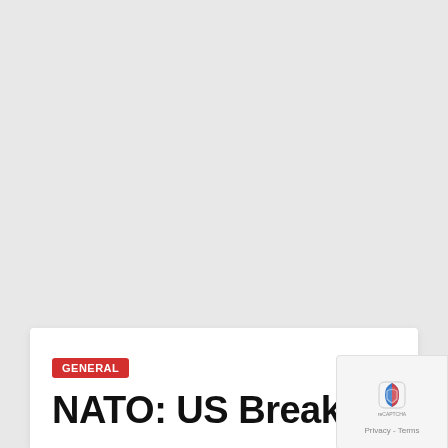GENERAL
NATO: US Breaks Silence On Russian...